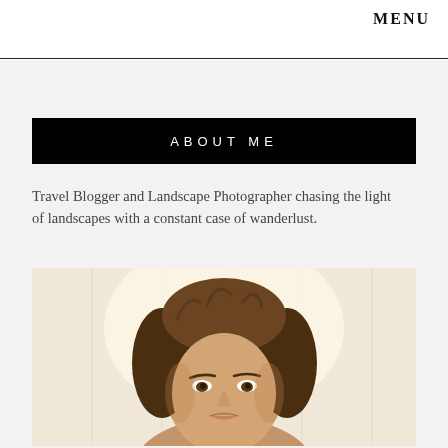MENU
ABOUT ME
Travel Blogger and Landscape Photographer chasing the light of landscapes with a constant case of wanderlust.
[Figure (photo): Portrait photo of a woman with brown hair against a light background with vertical wood panels]